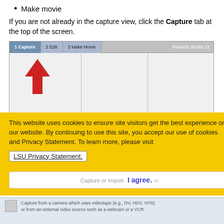Make movie
If you are not already in the capture view, click the Capture tab at the top of the screen.
[Figure (screenshot): Pinnacle Studio 12 interface showing the Capture tab highlighted with a red upward arrow, with Edit and Make Movie tabs also visible.]
This website uses cookies to ensure site visitors get the best experience on our website. By continuing to use this site, you accept our use of cookies and Privacy Statement. To learn more, please visit LSU Privacy Statement.
I agree.
Capture from a camera which uses videotape (e.g., DV, HDV, VHS) or from an external video source such as a webcam or a VCR.